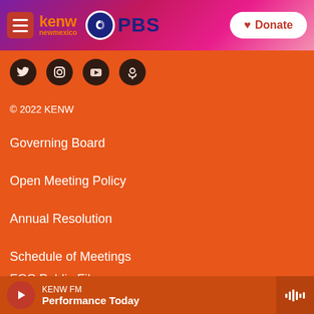[Figure (logo): KENW New Mexico PBS logo with hamburger menu and Donate button in header]
[Figure (infographic): Social media icons row: Twitter, Instagram, YouTube, Podcast]
© 2022 KENW
Governing Board
Open Meeting Policy
Annual Resolution
Schedule of Meetings
Board Minutes
FCC Applications
FCC Public Files
[Figure (infographic): Bottom player bar: KENW FM - Performance Today with play button and waveform icon]